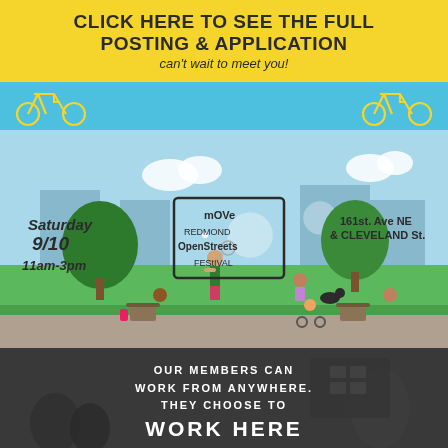CLICK HERE TO SEE THE FULL POSTING & APPLICATION
can't wait to meet you!
[Figure (illustration): Blue banner with two bicycle illustrations (yellow outlines) on either side]
[Figure (illustration): Move Redmond Open Streets Festival event poster illustration. Saturday 9/10 11am-3pm. 161st Ave NE & Cleveland St. Illustrated scene with people in a park setting, trees, buildings, people playing badminton, sitting with dogs, at outdoor tables including a person in a wheelchair.]
[Figure (photo): Dark photo of a coworking space with people, overlaid with white uppercase text reading: OUR MEMBERS CAN WORK FROM ANYWHERE. THEY CHOOSE TO WORK HERE]